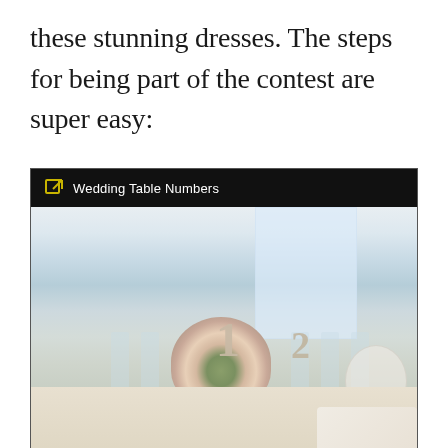these stunning dresses. The steps for being part of the contest are super easy:
[Figure (photo): Embedded web link preview card with black header bar showing a link icon and 'Wedding Table Numbers' label, followed by a photograph of an elegant wedding reception table setting with floral centerpiece, glassware, numbered table signs (1 and 2), white napkins, and soft natural light from windows in the background.]